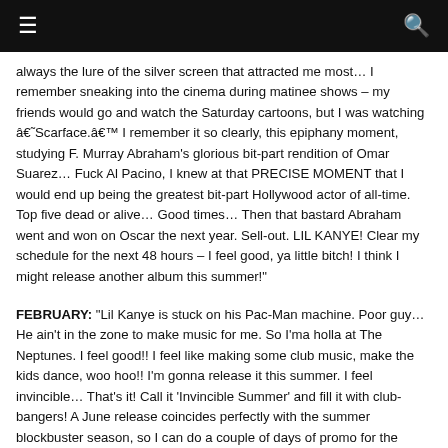≡  🔍
always the lure of the silver screen that attracted me most… I remember sneaking into the cinema during matinee shows – my friends would go and watch the Saturday cartoons, but I was watching â€˜Scarface.â€™ I remember it so clearly, this epiphany moment, studying F. Murray Abraham's glorious bit-part rendition of Omar Suarez… Fuck Al Pacino, I knew at that PRECISE MOMENT that I would end up being the greatest bit-part Hollywood actor of all-time. Top five dead or alive… Good times… Then that bastard Abraham went and won on Oscar the next year. Sell-out. LIL KANYE! Clear my schedule for the next 48 hours – I feel good, ya little bitch! I think I might release another album this summer!"
FEBRUARY: "Lil Kanye is stuck on his Pac-Man machine. Poor guy… He ain't in the zone to make music for me. So I'ma holla at The Neptunes. I feel good!! I feel like making some club music, make the kids dance, woo hoo!! I'm gonna release it this summer. I feel invincible… That's it! Call it 'Invincible Summer' and fill it with club-bangers! A June release coincides perfectly with the summer blockbuster season, so I can do a couple of days of promo for the album in between takes on my new TERMINATOR movie motherfuckers!! I'LL BE BACK"